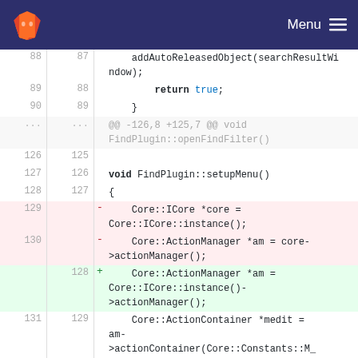GitLab  Menu
[Figure (screenshot): GitLab code diff view showing C++ source code with removed and added lines. Lines 88-90 show addAutoReleasedObject and return true. Lines 126-131 show setupMenu function with diff removing Core::ICore *core and Core::ActionManager *am lines and adding a combined Core::ActionManager *am = Core::ICore::instance()->actionManager() line.]